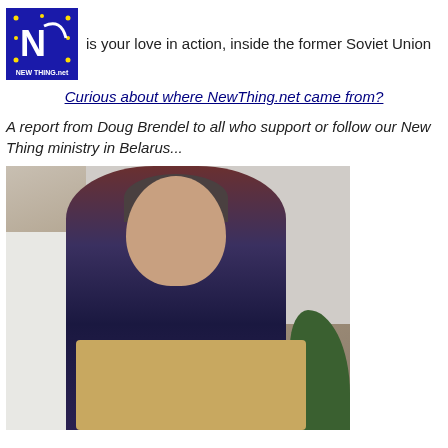[Figure (logo): NewThing.net logo — dark blue square with white N and checkmark, yellow stars around edge, 'NEW THING.net' text at bottom]
is your love in action, inside the former Soviet Union
Curious about where NewThing.net came from?
A report from Doug Brendel to all who support or follow our New Thing ministry in Belarus...
[Figure (photo): Middle-aged man with gray-brown hair wearing a dark vest over a dark red shirt with a striped tie, holding a large cardboard box/briefcase in front of him. Behind him is a white refrigerator on the left, tiled wall, and a green plant on the right.]